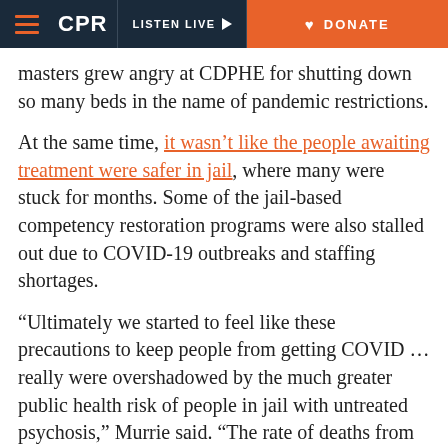CPR | LISTEN LIVE | DONATE
masters grew angry at CDPHE for shutting down so many beds in the name of pandemic restrictions.
At the same time, it wasn't like the people awaiting treatment were safer in jail, where many were stuck for months. Some of the jail-based competency restoration programs were also stalled out due to COVID-19 outbreaks and staffing shortages.
“Ultimately we started to feel like these precautions to keep people from getting COVID ... really were overshadowed by the much greater public health risk of people in jail with untreated psychosis,” Murrie said. “The rate of deaths from